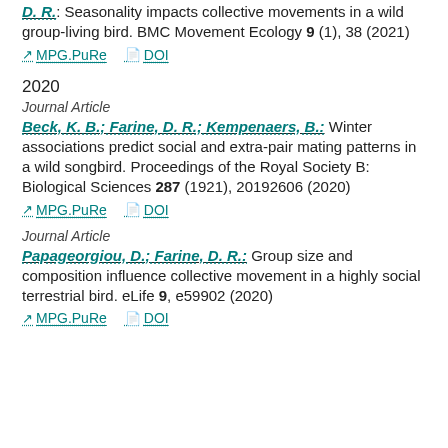D. R.: Seasonality impacts collective movements in a wild group-living bird. BMC Movement Ecology 9 (1), 38 (2021)
MPG.PuRe   DOI
2020
Journal Article
Beck, K. B.; Farine, D. R.; Kempenaers, B.: Winter associations predict social and extra-pair mating patterns in a wild songbird. Proceedings of the Royal Society B: Biological Sciences 287 (1921), 20192606 (2020)
MPG.PuRe   DOI
Journal Article
Papageorgiou, D.; Farine, D. R.: Group size and composition influence collective movement in a highly social terrestrial bird. eLife 9, e59902 (2020)
MPG.PuRe   DOI